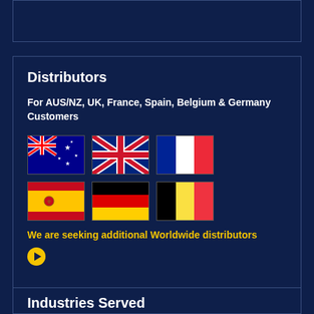Distributors
For AUS/NZ, UK, France, Spain, Belgium & Germany Customers
[Figure (illustration): Six country flags in two rows: Australia, UK, France (top row); Spain, Germany, Belgium (bottom row)]
We are seeking additional Worldwide distributors
[Figure (other): Yellow play button icon]
Industries Served